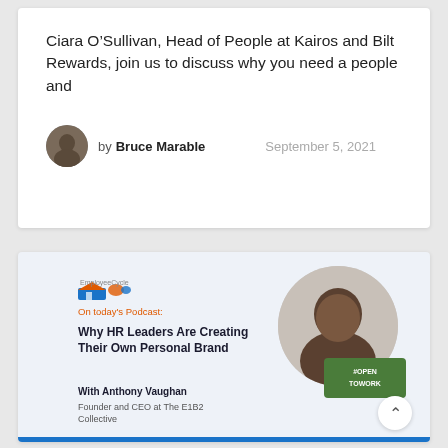Ciara O'Sullivan, Head of People at Kairos and Bilt Rewards, join us to discuss why you need a people and
by Bruce Marable    September 5, 2021
[Figure (infographic): Employee Cycle podcast card with logo, title 'Why HR Leaders Are Creating Their Own Personal Brand', guest Anthony Vaughan (Founder and CEO at The E1B2 Collective), and a circular headshot with #OpenToWork badge]